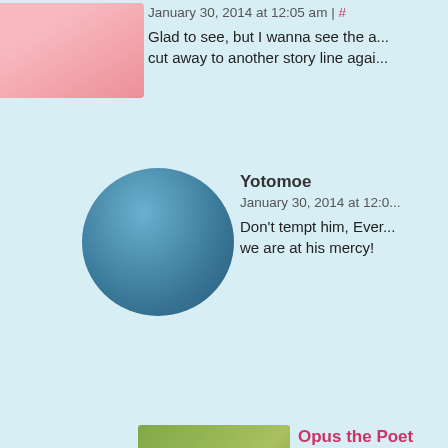January 30, 2014 at 12:05 am | #
Glad to see, but I wanna see the a... cut away to another story line agai...
Yotomoe
January 30, 2014 at 12:0...
Don't tempt him, Ever... we are at his mercy!
Opus the Poet
January 30, 2014 at...
There's always Di...
EEWWW
January 30, 201...
Meanwhile, Jo...
begbert2
January 30,...
Pretty sure... months a...